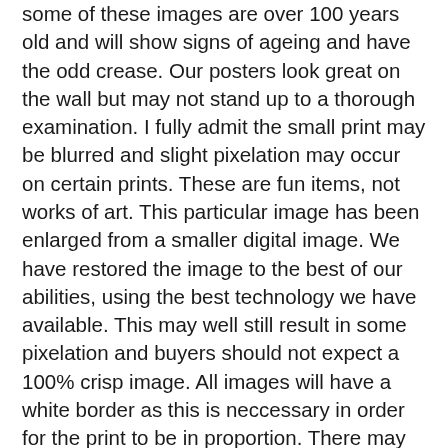some of these images are over 100 years old and will show signs of ageing and have the odd crease. Our posters look great on the wall but may not stand up to a thorough examination. I fully admit the small print may be blurred and slight pixelation may occur on certain prints. These are fun items, not works of art. This particular image has been enlarged from a smaller digital image. We have restored the image to the best of our abilities, using the best technology we have available. This may well still result in some pixelation and buyers should not expect a 100% crisp image. All images will have a white border as this is neccessary in order for the print to be in proportion. There may be instances where small print is illegible, or there may be some blurring or pixelation on certain prints. PLEASE NOTE that they are not fine art prints, or highly detailed works of art. Because of the age of some of our posters, a few small imperfections may be reproduced. These should be visible by looking at the larger images within this listing. Some prints may have marks or creases as a result of this. Paper can often degrades with time, and sometimes an image reproduced from the original that may reflect this.